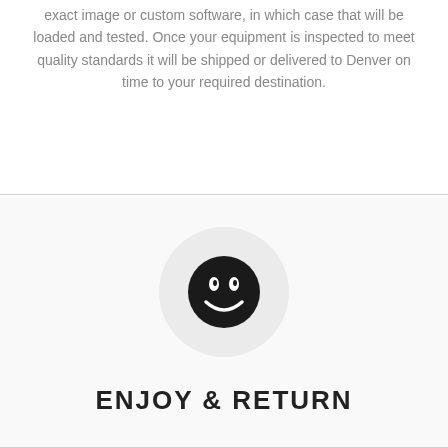exact image or custom software, in which case that will be loaded and tested. Once your equipment is inspected to meet quality standards it will be shipped or delivered to Denver on time to your required destination.
[Figure (illustration): Smiley face icon inside a light grey circle on a light grey background section, followed by the text ENJOY & RETURN]
ENJOY & RETURN